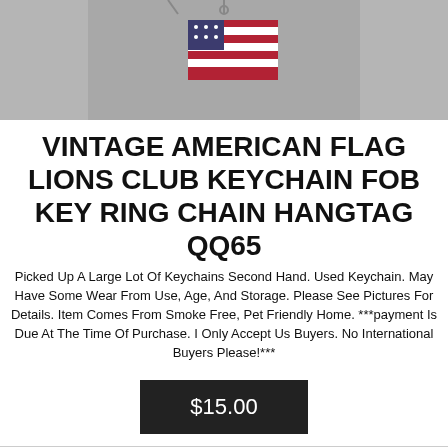[Figure (photo): Cropped top portion of a product photo showing a vintage American flag Lions Club keychain fob on a gray background]
VINTAGE AMERICAN FLAG LIONS CLUB KEYCHAIN FOB KEY RING CHAIN HANGTAG QQ65
Picked Up A Large Lot Of Keychains Second Hand. Used Keychain. May Have Some Wear From Use, Age, And Storage. Please See Pictures For Details. Item Comes From Smoke Free, Pet Friendly Home. ***payment Is Due At The Time Of Purchase. I Only Accept Us Buyers. No International Buyers Please!***
$15.00
[Figure (photo): Cropped bottom portion of another product photo showing a keychain on a gray background]